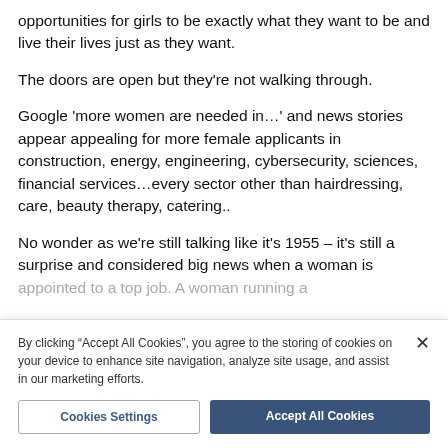opportunities for girls to be exactly what they want to be and live their lives just as they want.
The doors are open but they're not walking through.
Google 'more women are needed in…' and news stories appear appealing for more female applicants in construction, energy, engineering, cybersecurity, sciences, financial services…every sector other than hairdressing, care, beauty therapy, catering..
No wonder as we're still talking like it's 1955 – it's still a surprise and considered big news when a woman is appointed to a top job. A woman running a
By clicking "Accept All Cookies", you agree to the storing of cookies on your device to enhance site navigation, analyze site usage, and assist in our marketing efforts.
Cookies Settings
Accept All Cookies